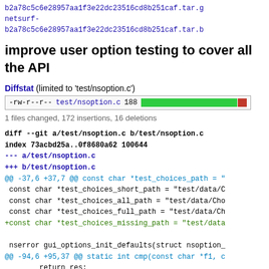b2a78c5c6e28957aa1f3e22dc23516cd8b251caf.tar.gz
netsurf-b2a78c5c6e28957aa1f3e22dc23516cd8b251caf.tar.bz
improve user option testing to cover all the API
Diffstat (limited to 'test/nsoption.c')
-rw-r--r-- test/nsoption.c 188 [bar chart: 172 insertions, 16 deletions]
1 files changed, 172 insertions, 16 deletions
diff --git a/test/nsoption.c b/test/nsoption.c
index 73acbd25a..0f8680a62 100644
--- a/test/nsoption.c
+++ b/test/nsoption.c
@@ -37,6 +37,7 @@ const char *test_choices_path = "
 const char *test_choices_short_path = "test/data/C
 const char *test_choices_all_path = "test/data/Cho
 const char *test_choices_full_path = "test/data/Ch
+const char *test_choices_missing_path = "test/data

 nserror gui_options_init_defaults(struct nsoption_
@@ -94,6 +95,37 @@ static int cmp(const char *f1, c
        return res;
 }

+/** option_create_fixture */